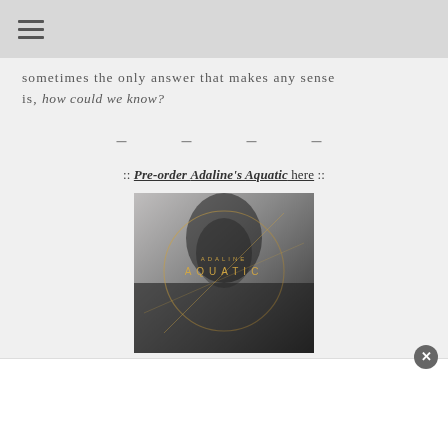sometimes the only answer that makes any sense is, how could we know?
– – – –
:: Pre-order Adaline's Aquatic here ::
[Figure (photo): Album cover for Adaline's Aquatic — black and white photo of a woman with long dark hair, with a golden circle and 'ADALINE AQUATIC' text overlaid]